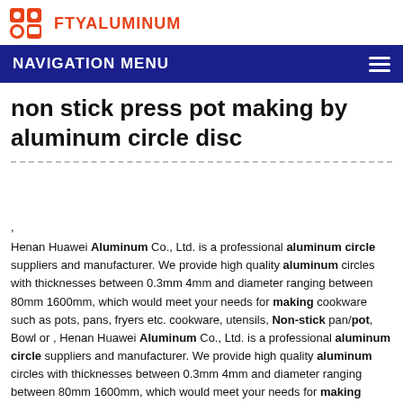FTYALUMINUM
NAVIGATION MENU
non stick press pot making by aluminum circle disc
, Henan Huawei Aluminum Co., Ltd. is a professional aluminum circle suppliers and manufacturer. We provide high quality aluminum circles with thicknesses between 0.3mm 4mm and diameter ranging between 80mm 1600mm, which would meet your needs for making cookware such as pots, pans, fryers etc. cookware, utensils, Non-stick pan/pot, Bowl or , Henan Huawei Aluminum Co., Ltd. is a professional aluminum circle suppliers and manufacturer. We provide high quality aluminum circles with thicknesses between 0.3mm 4mm and diameter ranging between 80mm 1600mm, which would meet your needs for making cookware such as pots, pans, fryers etc. cookware, utensils, Non-stick pan/pot, Bowl orAluminum Circle Discs For Kitchenware Pot Wholesale